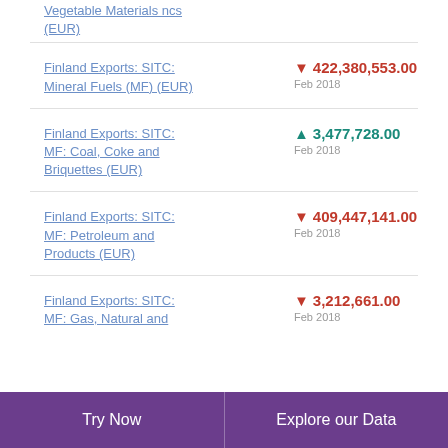Vegetable Materials ncs (EUR)
Finland Exports: SITC: Mineral Fuels (MF) (EUR)
Finland Exports: SITC: MF: Coal, Coke and Briquettes (EUR)
Finland Exports: SITC: MF: Petroleum and Products (EUR)
Finland Exports: SITC: MF: Gas, Natural and
Try Now    Explore our Data